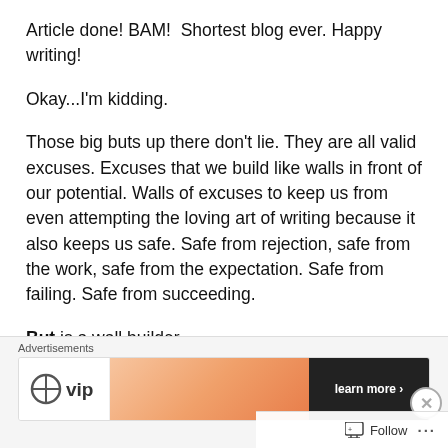Article done! BAM!  Shortest blog ever. Happy writing!
Okay...I'm kidding.
Those big buts up there don't lie. They are all valid excuses. Excuses that we build like walls in front of our potential. Walls of excuses to keep us from even attempting the loving art of writing because it also keeps us safe. Safe from rejection, safe from the work, safe from the expectation. Safe from failing. Safe from succeeding.
But is a wall builder.
But builds walls based on fear and hatred and not
[Figure (other): Advertisement banner with logo, gradient image, and learn more button. Label reads 'Advertisements' with a close button.]
Follow  ...